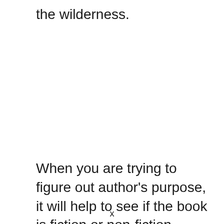the wilderness.
When you are trying to figure out author's purpose, it will help to see if the book is fiction or non-fiction. Most of the time, fiction
x